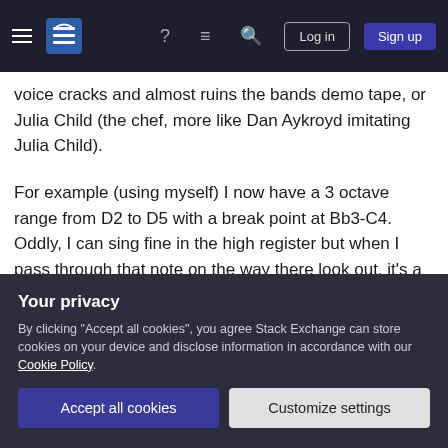Navigation bar with hamburger menu, Stack Exchange logo, help icon, chat icon, search icon, Log in button, Sign up button
voice cracks and almost ruins the bands demo tape, or Julia Child (the chef, more like Dan Aykroyd imitating Julia Child).
For example (using myself) I now have a 3 octave range from D2 to D5 with a break point at Bb3-C4. Oddly, I can sing fine in the high register but when I pass through that note on the way there look out, it's a mess.
You mention "control" and the irony is that one does not master vocals by "control" but by relaxation.
Your privacy
By clicking "Accept all cookies", you agree Stack Exchange can store cookies on your device and disclose information in accordance with our Cookie Policy.
Accept all cookies   Customize settings
coach you will not be disappointed